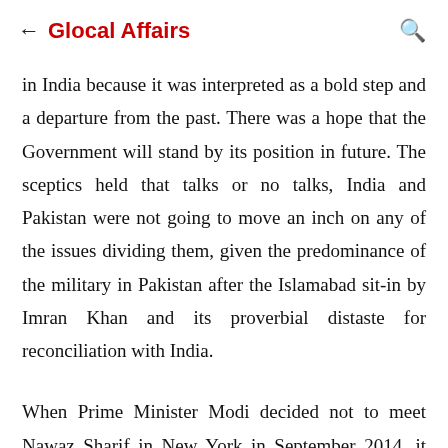← Glocal Affairs 🔍
in India because it was interpreted as a bold step and a departure from the past. There was a hope that the Government will stand by its position in future. The sceptics held that talks or no talks, India and Pakistan were not going to move an inch on any of the issues dividing them, given the predominance of the military in Pakistan after the Islamabad sit-in by Imran Khan and its proverbial distaste for reconciliation with India.
When Prime Minister Modi decided not to meet Nawaz Sharif in New York in September 2014, it was regarded as evidence of a new approach by the new Government